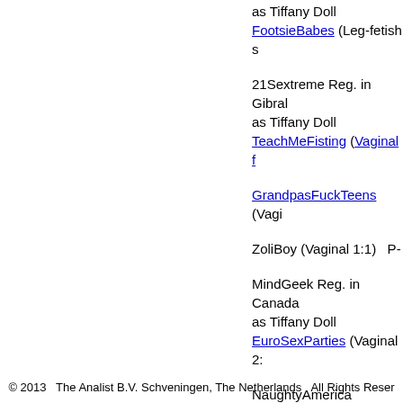as Tiffany Doll
FootsieBabes (Leg-fetish s
21Sextreme Reg. in Gibral
as Tiffany Doll
TeachMeFisting (Vaginal f
GrandpasFuckTeens (Vagi
ZoliBoy (Vaginal 1:1)   P-
MindGeek Reg. in Canada
as Tiffany Doll
EuroSexParties (Vaginal 2:
NaughtyAmerica
as Tiffany Doll
MySister'sHotFriend (Vagi
Started: 2013.04..
Final update: 2014.10.24.
© 2013    The Analist B.V. Schveningen, The Netherlands    All Rights Reser